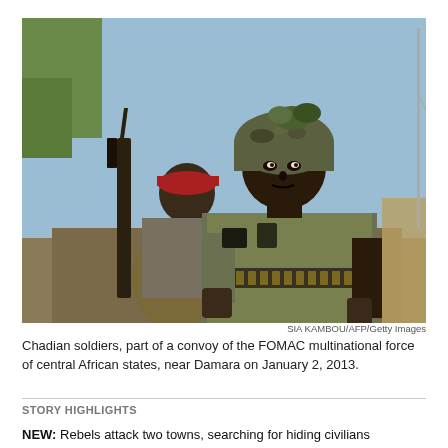[Figure (photo): Chadian soldiers in camouflage gear and helmets, armed with rifles and ammunition, seated on a vehicle. Part of a FOMAC multinational force convoy near Damara, January 2013.]
SIA KAMBOU/AFP/Getty Images
Chadian soldiers, part of a convoy of the FOMAC multinational force of central African states, near Damara on January 2, 2013.
STORY HIGHLIGHTS
NEW: Rebels attack two towns, searching for hiding civilians